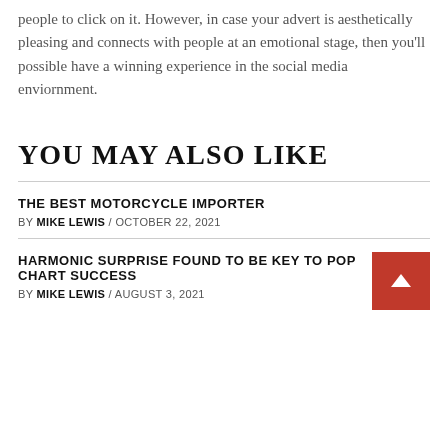people to click on it. However, in case your advert is aesthetically pleasing and connects with people at an emotional stage, then you'll possible have a winning experience in the social media enviornment.
YOU MAY ALSO LIKE
THE BEST MOTORCYCLE IMPORTER
BY MIKE LEWIS / OCTOBER 22, 2021
HARMONIC SURPRISE FOUND TO BE KEY TO POP CHART SUCCESS
BY MIKE LEWIS / AUGUST 3, 2021